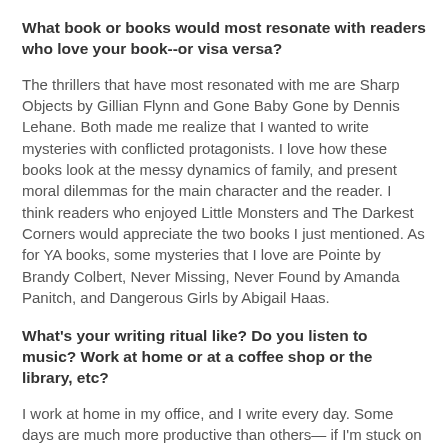What book or books would most resonate with readers who love your book--or visa versa?
The thrillers that have most resonated with me are Sharp Objects by Gillian Flynn and Gone Baby Gone by Dennis Lehane. Both made me realize that I wanted to write mysteries with conflicted protagonists. I love how these books look at the messy dynamics of family, and present moral dilemmas for the main character and the reader. I think readers who enjoyed Little Monsters and The Darkest Corners would appreciate the two books I just mentioned. As for YA books, some mysteries that I love are Pointe by Brandy Colbert, Never Missing, Never Found by Amanda Panitch, and Dangerous Girls by Abigail Haas.
What's your writing ritual like? Do you listen to music? Work at home or at a coffee shop or the library, etc?
I work at home in my office, and I write every day. Some days are much more productive than others— if I'm stuck on a plot point I have to spend time outlining. I joke that my